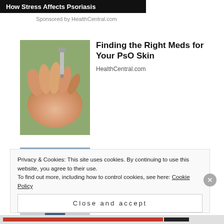[Figure (screenshot): Dark banner with text 'How Stress Affects Psoriasis']
Sponsored by HealthCentral.com
[Figure (photo): Close-up photo of a hand receiving drops of liquid medication]
Finding the Right Meds for Your PsO Skin
HealthCentral.com
[Figure (photo): Photo of Social Security Administration building exterior]
$900 Grocery Allowance For Seniors
bestmedicareplans.com
Privacy & Cookies: This site uses cookies. By continuing to use this website, you agree to their use.
To find out more, including how to control cookies, see here: Cookie Policy
Close and accept